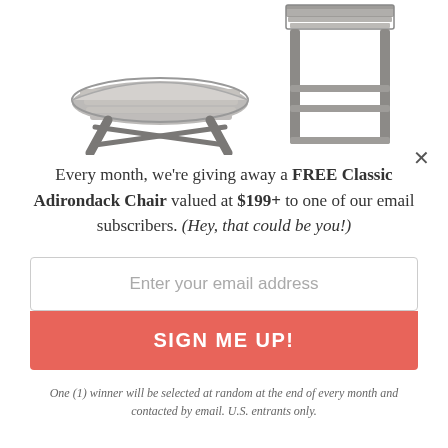[Figure (photo): Two pieces of gray Adirondack outdoor furniture: a low side table on the left and a taller bar-height side table on the right.]
Every month, we're giving away a FREE Classic Adirondack Chair valued at $199+ to one of our email subscribers. (Hey, that could be you!)
Enter your email address
SIGN ME UP!
One (1) winner will be selected at random at the end of every month and contacted by email. U.S. entrants only.